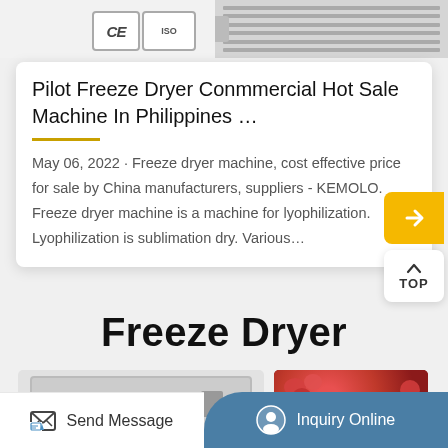[Figure (photo): Top strip showing CE and ISO certification badges and freeze dryer machine photo]
Pilot Freeze Dryer Conmmercial Hot Sale Machine In Philippines …
May 06, 2022 · Freeze dryer machine, cost effective price for sale by China manufacturers, suppliers - KEMOLO. Freeze dryer machine is a machine for lyophilization. Lyophilization is sublimation dry. Various…
[Figure (illustration): Yellow arrow button pointing right]
[Figure (illustration): TOP navigation button with upward caret]
Freeze Dryer
[Figure (photo): Freeze dryer machine product photo (left) and freeze-dried strawberries/fruit photo (right)]
[Figure (illustration): Bottom bar with Send Message button and Inquiry Online button]